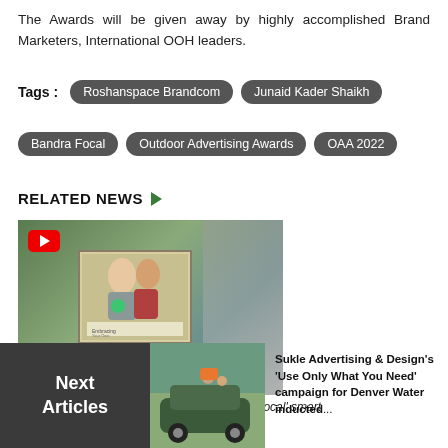The Awards will be given away by highly accomplished Brand Marketers, International OOH leaders.
Tags : Roshanspace Brandcom  Junaid Kader Shaikh  Bandra Focal  Outdoor Advertising Awards  OAA 2022
RELATED NEWS
[Figure (photo): Aerial view of a large outdoor billboard showing a couple, situated near a highway interchange, with a YouTube play button overlay in the top-left corner.]
RoshanSpace Brandcom's towering 'Bandra Focal' smart...
Next Articles
[Figure (photo): Thumbnail image of a car with outdoor advertising wrapping, parked outdoors with people around it.]
Sukle Advertising & Design's 'Use Only What You Need' campaign for Denver Water inducted...